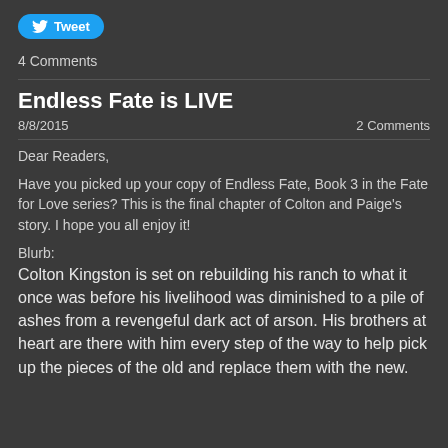[Figure (other): Twitter Tweet button with bird icon]
4 Comments
Endless Fate is LIVE
8/8/2015    2 Comments
Dear Readers,
Have you picked up your copy of Endless Fate, Book 3 in the Fate for Love series? This is the final chapter of Colton and Paige's story. I hope you all enjoy it!
Blurb:
Colton Kingston is set on rebuilding his ranch to what it once was before his livelihood was diminished to a pile of ashes from a revengeful dark act of arson. His brothers at heart are there with him every step of the way to help pick up the pieces of the old and replace them with the new.